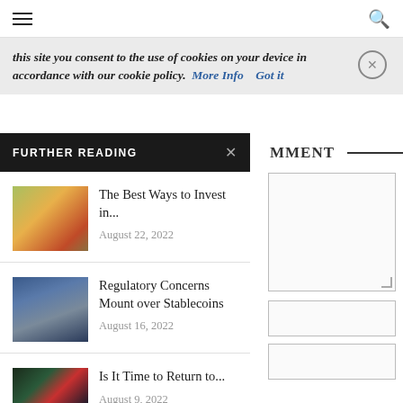≡ (hamburger menu) | (search icon)
this site you consent to the use of cookies on your device in accordance with our cookie policy. More Info   Got it
FURTHER READING
MMENT
[Figure (photo): Colorful autumn leaves photo thumbnail for article about investing]
The Best Ways to Invest in...
August 22, 2022
[Figure (photo): Glass skyscraper building thumbnail for article about stablecoins regulation]
Regulatory Concerns Mount over Stablecoins
August 16, 2022
[Figure (photo): Stock chart trading screen thumbnail for article about returning to market]
Is It Time to Return to...
August 9, 2022